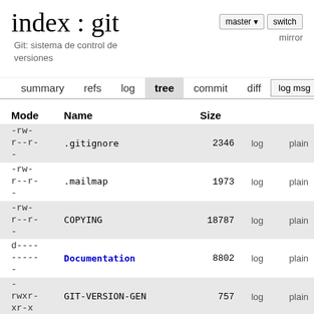index : git
Git: sistema de control de versiones
mirror
summary  refs  log  tree  commit  diff  log msg
| Mode | Name | Size |  |  |
| --- | --- | --- | --- | --- |
| -rw-
r--r-
- | .gitignore | 2346 | log | plain |
| -rw-
r--r-
- | .mailmap | 1973 | log | plain |
| -rw-
r--r-
- | COPYING | 18787 | log | plain |
| d----
-----
- | Documentation | 8802 | log | plain |
| -
rwxr-
xr-x | GIT-VERSION-GEN | 757 | log | plain |
| -rw-
r--r-
- | INSTALL | 4408 | log | plain |